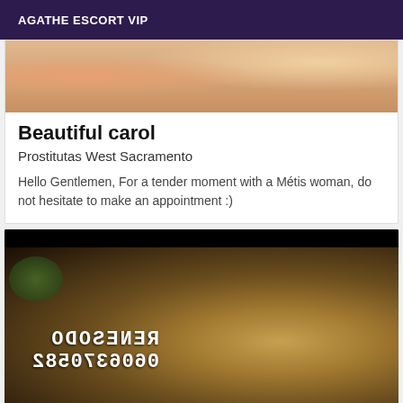AGATHE ESCORT VIP
[Figure (photo): Partial photo of a person at the top of a listing card]
Beautiful carol
Prostitutas West Sacramento
Hello Gentlemen, For a tender moment with a Métis woman, do not hesitate to make an appointment :)
[Figure (photo): Photo of a woman with blonde wavy hair, with mirrored/flipped text overlay reading RENESODO and 0606370588 style number]